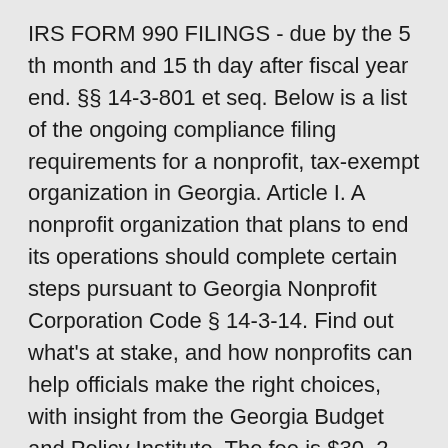IRS FORM 990 FILINGS - due by the 5 th month and 15 th day after fiscal year end. §§ 14-3-801 et seq. Below is a list of the ongoing compliance filing requirements for a nonprofit, tax-exempt organization in Georgia. Article I. A nonprofit organization that plans to end its operations should complete certain steps pursuant to Georgia Nonprofit Corporation Code § 14-3-14. Find out what's at stake, and how nonprofits can help officials make the right choices, with insight from the Georgia Budget and Policy Institute. The fee is $30. 2. Information on electronic filing. (b) The articles of incorporation may set forth: (1) The purpose or purposes for which the corporation is organized, which may be, either alone or in combination with other purposes, the transaction of any lawful activity; 2. When